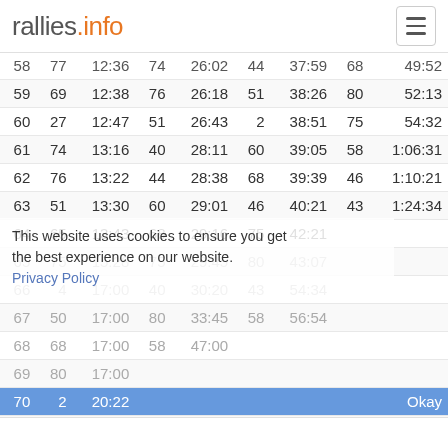rallies.info
| 58 | 77 | 12:36 | 74 | 26:02 | 44 | 37:59 | 68 | 49:52 |
| 59 | 69 | 12:38 | 76 | 26:18 | 51 | 38:26 | 80 | 52:13 |
| 60 | 27 | 12:47 | 51 | 26:43 | 2 | 38:51 | 75 | 54:32 |
| 61 | 74 | 13:16 | 40 | 28:11 | 60 | 39:05 | 58 | 1:06:31 |
| 62 | 76 | 13:22 | 44 | 28:38 | 68 | 39:39 | 46 | 1:10:21 |
| 63 | 51 | 13:30 | 60 | 29:01 | 46 | 40:21 | 43 | 1:24:34 |
| 64 | 65 | 13:43 | 68 | 29:16 | 75 | 42:21 |  |  |
| 65 | 75 | 15:28 | 75 | 29:45 | 80 | 43:07 |  |  |
| 66 | 4 | 17:00 | 40 | 30:20 | 43 | 54:34 |  |  |
| 67 | 50 | 17:00 | 80 | 33:45 | 58 | 56:54 |  |  |
| 68 | 68 | 17:00 | 58 | 47:00 |  |  |  |  |
| 69 | 80 | 17:00 |  |  |  |  |  |  |
| 70 | 2 | 20:22 |  |  |  |  |  |  |
| 71 | 58 | 30:00 |  |  |  |  |  |  |
This website uses cookies to ensure you get the best experience on our website. Privacy Policy